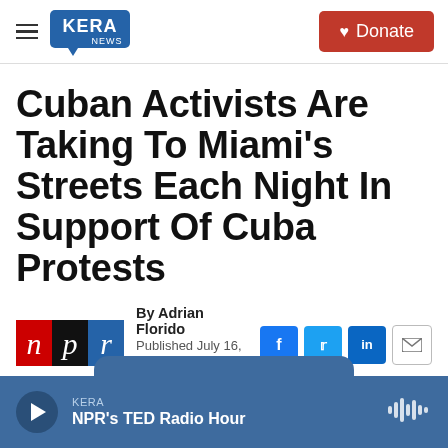KERA NEWS | Donate
Cuban Activists Are Taking To Miami's Streets Each Night In Support Of Cuba Protests
By Adrian Florido
Published July 16, 2021 at 3:23 PM CDT
[Figure (logo): NPR logo with red 'n', black 'p', blue 'r' blocks]
KERA
NPR's TED Radio Hour